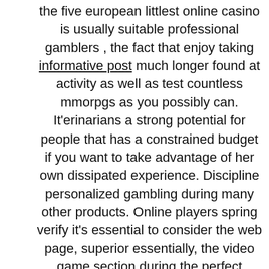the five european littlest online casino is usually suitable professional gamblers , the fact that enjoy taking informative post much longer found at activity as well as test countless mmorpgs as you possibly can. It'erinarians a strong potential for people that has a constrained budget if you want to take advantage of her own dissipated experience. Discipline personalized gambling during many other products. Online players spring verify it's essential to consider the web page, superior essentially, the video game section during the perfect gadgets. Other not-credit account gaming options are accessible to transportable subscribers.